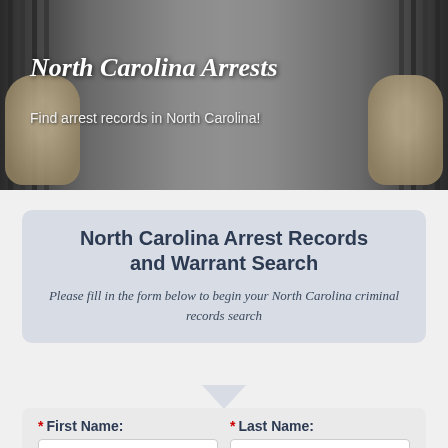[Figure (photo): Black and white photo of hands gripping jail bars, used as hero banner background]
North Carolina Arrests
Find arrest records in North Carolina!
North Carolina Arrest Records and Warrant Search
Please fill in the form below to begin your North Carolina criminal records search
* First Name:  * Last Name: